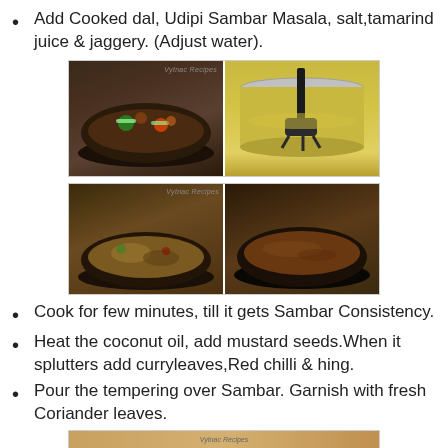Add Cooked dal, Udipi Sambar Masala, salt,tamarind juice & jaggery. (Adjust water).
[Figure (photo): Two side-by-side food photos: left shows a pan with vegetables cooking in dark sambar broth; right shows a metal pot with yellow dal being mixed with a hand blender.]
[Figure (photo): Two side-by-side food photos: left shows sambar with dal mixing into vegetables in a pan; right shows the final cooked sambar in a dark pan with brownish consistency.]
Cook for few minutes, till it gets Sambar Consistency.
Heat the coconut oil, add mustard seeds.When it splutters add curryleaves,Red chilli & hing.
Pour the tempering over Sambar. Garnish with fresh Coriander leaves.
[Figure (photo): Partial photo visible at bottom of page showing final garnished sambar dish.]